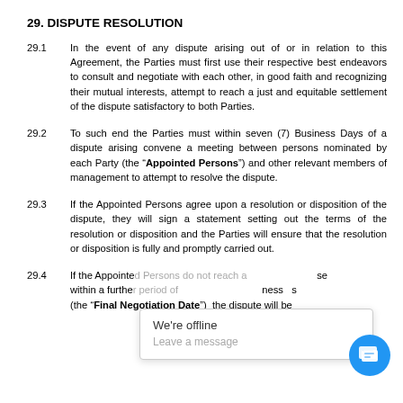29. DISPUTE RESOLUTION
29.1 In the event of any dispute arising out of or in relation to this Agreement, the Parties must first use their respective best endeavors to consult and negotiate with each other, in good faith and recognizing their mutual interests, attempt to reach a just and equitable settlement of the dispute satisfactory to both Parties.
29.2 To such end the Parties must within seven (7) Business Days of a dispute arising convene a meeting between persons nominated by each Party (the “Appointed Persons”) and other relevant members of management to attempt to resolve the dispute.
29.3 If the Appointed Persons agree upon a resolution or disposition of the dispute, they will sign a statement setting out the terms of the resolution or disposition and the Parties will ensure that the resolution or disposition is fully and promptly carried out.
29.4 If the Appointed Persons ... within a further ... (the “Final Negotiation Date”) the dispute will be